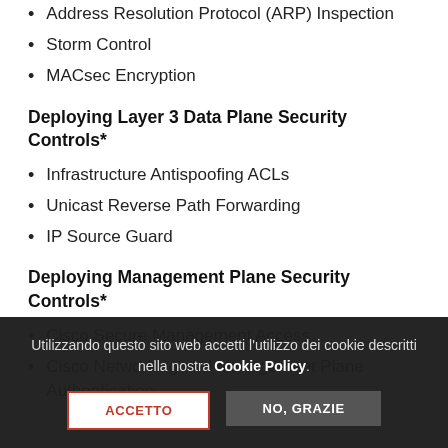Address Resolution Protocol (ARP) Inspection
Storm Control
MACsec Encryption
Deploying Layer 3 Data Plane Security Controls*
Infrastructure Antispoofing ACLs
Unicast Reverse Path Forwarding
IP Source Guard
Deploying Management Plane Security Controls*
Cisco Secure Management Access
Cisco Networking and Management Plane Authentication
Utilizzando questo sito web accetti l'utilizzo dei cookie descritti nella nostra Cookie Policy.
ACCETTO
NO, GRAZIE